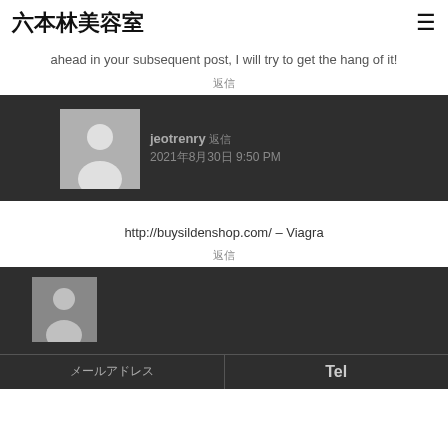六本林美容室
ahead in your subsequent post, I will try to get the hang of it!
返信
[Figure (other): User avatar placeholder (grey silhouette) with username jeotrenry 返信 and date 2021年8月30日 9:50 PM on dark background]
http://buysildenshop.com/ – Viagra
返信
[Figure (other): User avatar placeholder (grey silhouette) on dark background with footer showing メールアドレス and Tel]